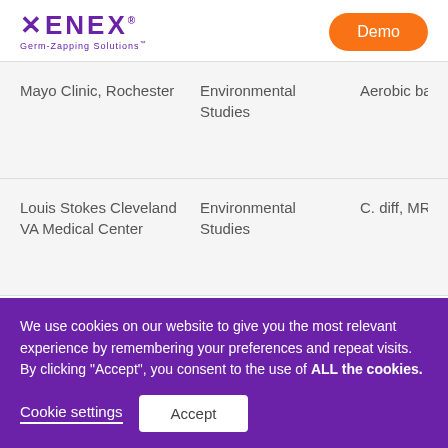[Figure (logo): Xenex Germ-Zapping Solutions logo in purple with X pattern design]
Demo
| Mayo Clinic, Rochester | Environmental Studies | Aerobic bacteria |
| Louis Stokes Cleveland VA Medical Center | Environmental Studies | C. diff, MRSA, VRE |
We use cookies on our website to give you the most relevant experience by remembering your preferences and repeat visits. By clicking "Accept", you consent to the use of ALL the cookies.
Cookie settings
Accept